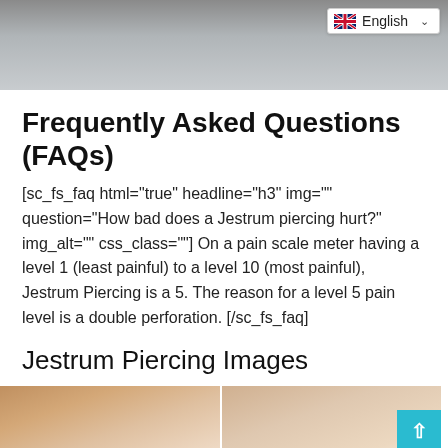[Figure (photo): Top portion of a webpage showing the bottom of a person's photo (gray/neutral background) with a UK flag English language selector dropdown in the top right corner]
Frequently Asked Questions (FAQs)
[sc_fs_faq html="true" headline="h3" img="" question="How bad does a Jestrum piercing hurt?" img_alt="" css_class=""] On a pain scale meter having a level 1 (least painful) to a level 10 (most painful), Jestrum Piercing is a 5. The reason for a level 5 pain level is a double perforation. [/sc_fs_faq]
Jestrum Piercing Images
[Figure (photo): Two nose piercing images side by side at the bottom of the page — left shows a gold/bronze ring nose piercing on a close-up of a nose, right shows a silver hoop nose piercing on a close-up of a nose]